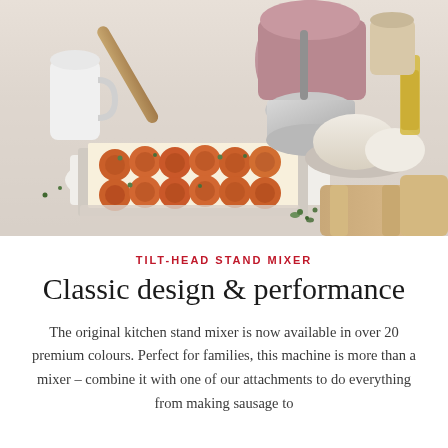[Figure (photo): A pink KitchenAid stand mixer on a kitchen counter surrounded by baking ingredients including dough balls, flour, a rolling pin, a jug of milk, olive oil, and a baking tray filled with pizza rolls/pinwheels garnished with fresh herbs. Wooden chairs visible in the foreground.]
TILT-HEAD STAND MIXER
Classic design & performance
The original kitchen stand mixer is now available in over 20 premium colours. Perfect for families, this machine is more than a mixer – combine it with one of our attachments to do everything from making sausage to